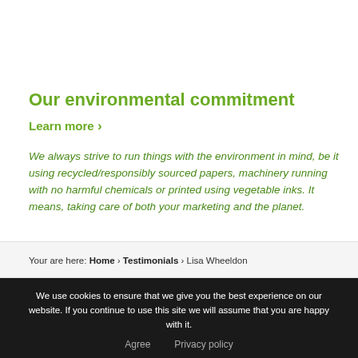Our environmental commitment
Learn more ›
We always strive to run things with the environment in mind, be it using recycled/responsibly sourced papers, machinery running with no harmful chemicals or printed using vegetable inks. It means, taking care of both your marketing and the planet.
Your are here: Home › Testimonials › Lisa Wheeldon
We use cookies to ensure that we give you the best experience on our website. If you continue to use this site we will assume that you are happy with it.
Agree   Privacy policy